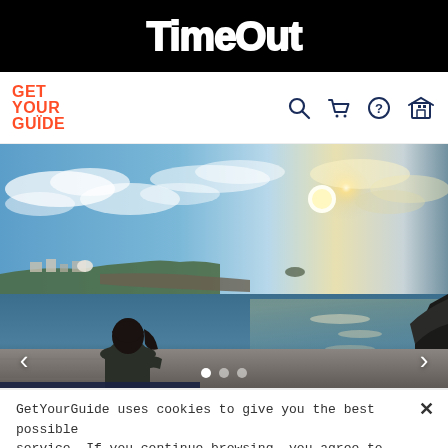TimeOut
[Figure (logo): GetYourGuide logo in orange/red with stacked text GET YOUR GUIDE and navigation icons: search, cart, help, profile]
[Figure (photo): Scenic outdoor photo of a person standing on a coastal wall overlooking an ocean bay with a harbour town on the left, dramatic blue sky with clouds, and sun glare on the water to the right]
GetYourGuide uses cookies to give you the best possible service. If you continue browsing, you agree to the use of